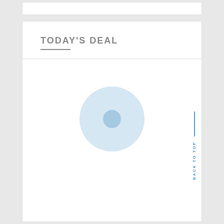TODAY'S DEAL
[Figure (illustration): A light blue circle with a darker blue inner circle, resembling a loading spinner or placeholder image icon, centered in the content card area.]
BACK TO TOP